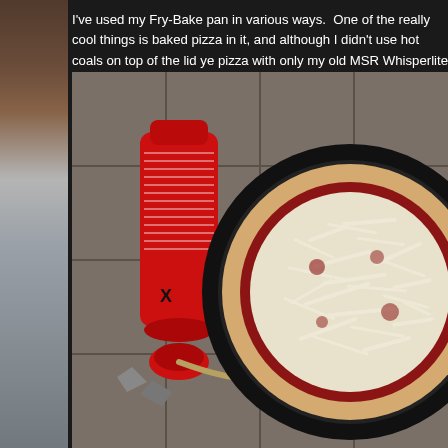I've used my Fry-Bake pan in various ways.  One of the really cool things is baked pizza in it, and although I didn't use hot coals on top of the lid ye pizza with only my old MSR Whisperlite Internationale stove worked just
[Figure (photo): Photo showing an uncooked pizza with shredded cheese and tomato sauce in a dark round Fry-Bake pan, next to a red MSR Whisperlite fuel bottle with connected stove hardware, all sitting on grey tile flooring.]